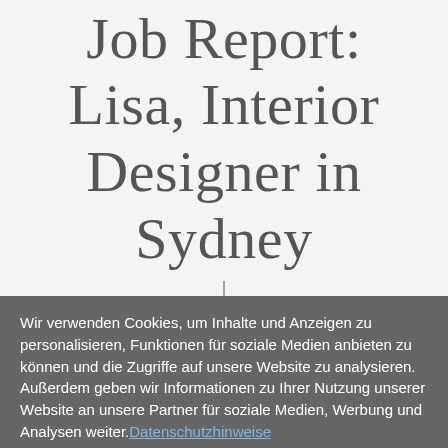Job Report: Lisa, Interior Designer in Sydney
Wir verwenden Cookies, um Inhalte und Anzeigen zu personalisieren, Funktionen für soziale Medien anbieten zu können und die Zugriffe auf unsere Website zu analysieren. Außerdem geben wir Informationen zu Ihrer Nutzung unserer Website an unsere Partner für soziale Medien, Werbung und Analysen weiter. Datenschutzhinweise